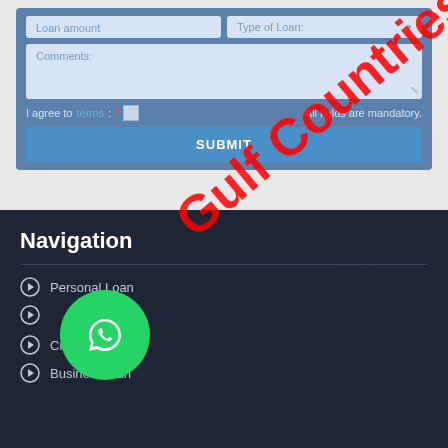[Figure (screenshot): Loan application form with fields for Loan amount, Type of Loan, Comments textarea, terms agreement checkbox, and a Submit button. A red diagonal watermark reading 'Gulf Countries' overlays the form.]
Navigation
Personal Loan
Credit Cards
Business loan